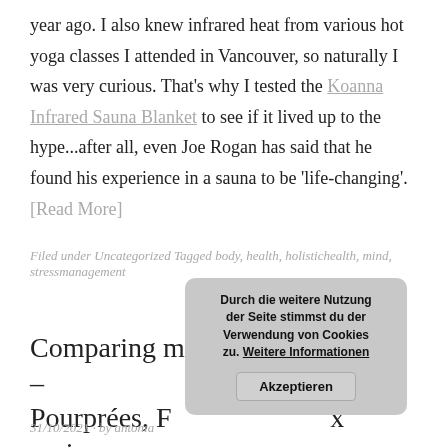year ago. I also knew infrared heat from various hot yoga classes I attended in Vancouver, so naturally I was very curious. That's why I tested the Koanna Infrared Sauna Blanket to see if it lived up to the hype...after all, even Joe Rogan has said that he found his experience in a sauna to be 'life-changing'. [Read More]
Filed under Uncategorized Tagged body, health, holistichealth, mind, stressmanagement
Comparing my period underwear – Pourprées, Femtis and Eaux review
31/10/2021 · by antonia
[Figure (other): Cookie consent overlay popup with German text: 'Durch die weitere Nutzung der Seite stimmst du der Verwendung von Cookies zu. Weitere Informationen' and an 'Akzeptieren' (Accept) button.]